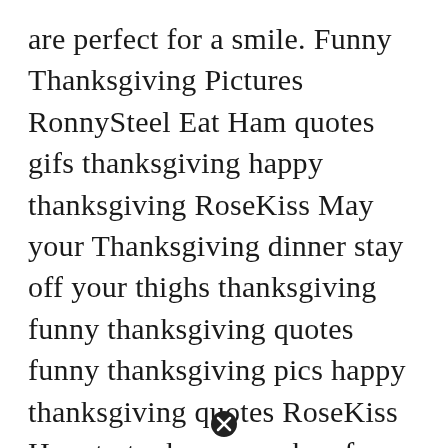are perfect for a smile. Funny Thanksgiving Pictures RonnySteel Eat Ham quotes gifs thanksgiving happy thanksgiving RoseKiss May your Thanksgiving dinner stay off your thighs thanksgiving funny thanksgiving quotes funny thanksgiving pics happy thanksgiving quotes RoseKiss How to took your curkey funny thanksgiving thanksgiving humor funny thanksgiving quotes daisydoll I shot my first turkey today funny quotes. Funny Thanksgiving Riddles That Will Keep You Busy For Hours